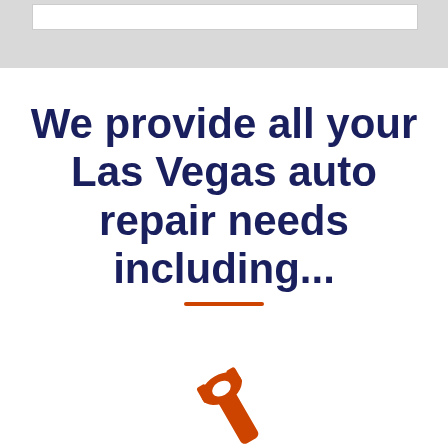We provide all your Las Vegas auto repair needs including...
[Figure (illustration): Orange wrench/tool icon at the bottom center of the page]